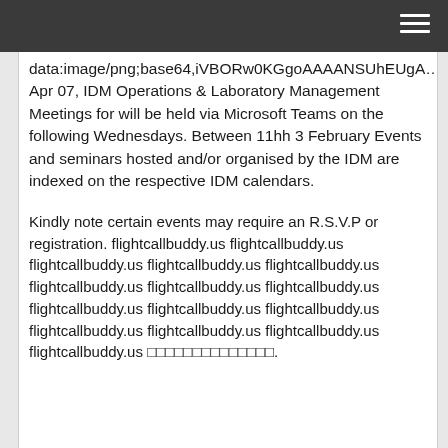data:image/png;base64,iVBORw0KGgoAAAANSUhEUgA… Apr 07, IDM Operations & Laboratory Management Meetings for will be held via Microsoft Teams on the following Wednesdays. Between 11hh 3 February Events and seminars hosted and/or organised by the IDM are indexed on the respective IDM calendars.
Kindly note certain events may require an R.S.V.P or registration. flightcallbuddy.us flightcallbuddy.us flightcallbuddy.us flightcallbuddy.us flightcallbuddy.us flightcallbuddy.us flightcallbuddy.us flightcallbuddy.us flightcallbuddy.us flightcallbuddy.us flightcallbuddy.us flightcallbuddy.us flightcallbuddy.us flightcallbuddy.us flightcallbuddy.us □□□□□□□□□□□□□□.